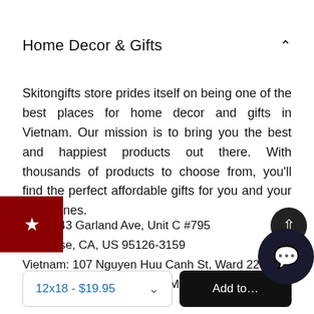Home Decor & Gifts
Skitongifts store prides itself on being one of the best places for home decor and gifts in Vietnam. Our mission is to bring you the best and happiest products out there. With thousands of products to choose from, you'll find the perfect affordable gifts for you and your loved ones.
US: 1043 Garland Ave, Unit C #795
San Jose, CA, US 95126-3159
Vietnam: 107 Nguyen Huu Canh St, Ward 22
Binh Thanh District, Ho Chi Minh City, Vietnam
12x18 - $19.95
Add to